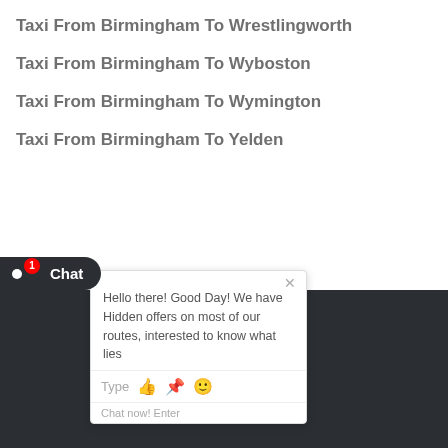Taxi From Birmingham To Wrestlingworth
Taxi From Birmingham To Wyboston
Taxi From Birmingham To Wymington
Taxi From Birmingham To Yelden
[Figure (screenshot): Chat popup widget showing greeting message: 'Hello there! Good Day! We have Hidden offers on most of our routes, interested to know what lies...' with a text input bar and icons.]
[Figure (screenshot): Chat button in the bottom left showing a chat icon and 'Chat' label with a red badge showing '1'.]
Tags